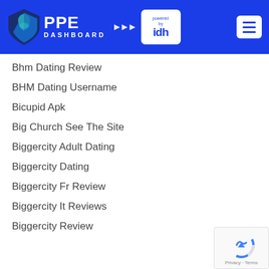PPE DASHBOARD powered by idh
Bhm Dating Review
BHM Dating Username
Bicupid Apk
Big Church See The Site
Biggercity Adult Dating
Biggercity Dating
Biggercity Fr Review
Biggercity It Reviews
Biggercity Review